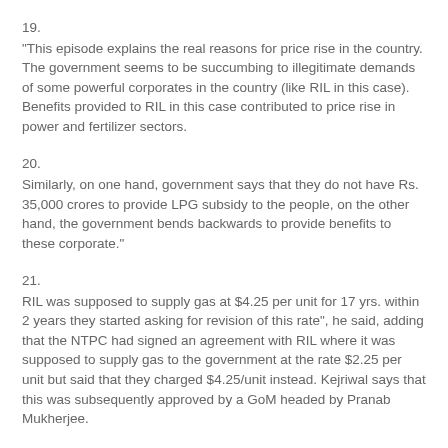19.
"This episode explains the real reasons for price rise in the country. The government seems to be succumbing to illegitimate demands of some powerful corporates in the country (like RIL in this case). Benefits provided to RIL in this case contributed to price rise in power and fertilizer sectors.
20.
Similarly, on one hand, government says that they do not have Rs. 35,000 crores to provide LPG subsidy to the people, on the other hand, the government bends backwards to provide benefits to these corporate."
21.
RIL was supposed to supply gas at $4.25 per unit for 17 yrs. within 2 years they started asking for revision of this rate", he said, adding that the NTPC had signed an agreement with RIL where it was supposed to supply gas to the government at the rate $2.25 per unit but said that they charged $4.25/unit instead. Kejriwal says that this was subsequently approved by a GoM headed by Pranab Mukherjee.